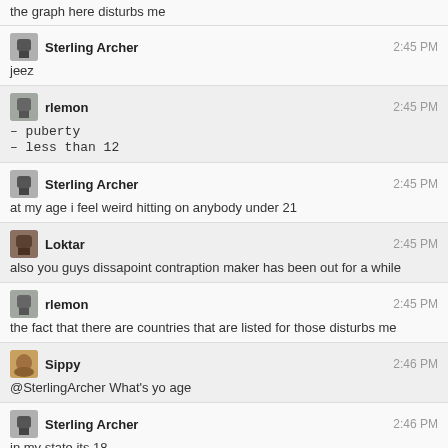the graph here disturbs me
Sterling Archer 2:45 PM
jeez
rlemon 2:45 PM
- puberty
- less than 12
Sterling Archer 2:45 PM
at my age i feel weird hitting on anybody under 21
Loktar 2:45 PM
also you guys dissapoint contraption maker has been out for a while
rlemon 2:45 PM
the fact that there are countries that are listed for those disturbs me
Sippy 2:46 PM
@SterlingArcher What's yo age
Sterling Archer 2:46 PM
in my state its 18
Kendall Frey 2:46 PM
@Loktar It's on Humble now though
Sterling Archer 2:46 PM